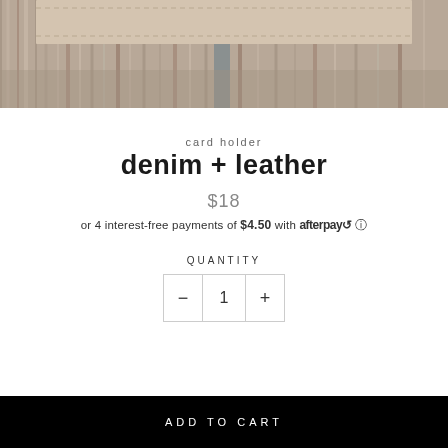[Figure (photo): Close-up photo of a leather card holder on a wooden background, showing stitching detail]
card holder
denim + leather
$18
or 4 interest-free payments of $4.50 with afterpay ℹ
QUANTITY
1
ADD TO CART